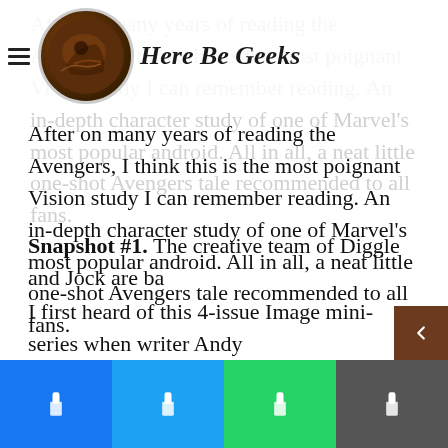Here Be Geeks
After on many years of reading the Avengers, I think this is the most poignant Vision study I can remember reading. An in-depth character study of one of Marvel's most popular android. All in all, a neat little one-shot Avengers tale recommended to all fans.
Snapshot #1. The creative team of Diggle and Jock are ba
I first heard of this 4-issue Image mini-series when writer Andy